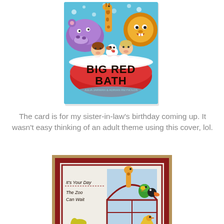[Figure (illustration): Book cover of 'Big Red Bath' by Julia Jarman and Adrian Reynolds. Shows colorful cartoon children and animals (hippo, giraffe, lion, dog) in a big red bathtub with bubbles on a blue background.]
The card is for my sister-in-law's birthday coming up. It wasn't easy thinking of an adult theme using this cover, lol.
[Figure (photo): A handmade birthday card on a brown background with red border. Shows a woman in a big red bath with animals (giraffe, parrot, toucan, ostrich, crocodile) outside a window. Text reads 'It's Your Day The Zoo Can Wait' on the left and 'Fill & Chill' on the right. Small text at bottom reads 'art by sirensia paper-paintings.blogspot.com'.]